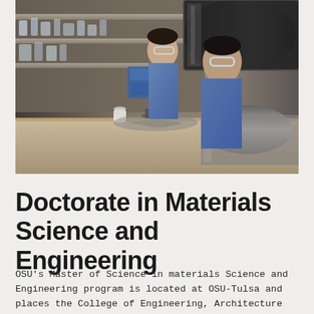[Figure (photo): Two researchers wearing safety glasses and blue shirts working in a laboratory setting, examining equipment including a large cylindrical black tube/instrument. A shelf with lab glassware and equipment is visible in the background.]
Doctorate in Materials Science and Engineering
OSU's Master of Science in materials Science and Engineering program is located at OSU-Tulsa and places the College of Engineering, Architecture and Technology in a unique position to conduct world-class education, research